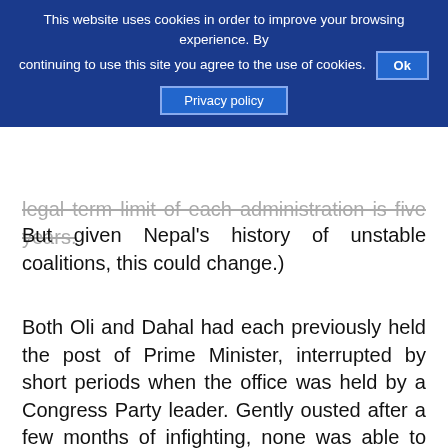This website uses cookies in order to improve your browsing experience. By continuing to use this site you agree to the use of cookies. Ok Privacy policy
legal term limit of each administration is five years. But given Nepal's history of unstable coalitions, this could change.)
Both Oli and Dahal had each previously held the post of Prime Minister, interrupted by short periods when the office was held by a Congress Party leader. Gently ousted after a few months of infighting, none was able to lead effectively. Constant changes of leadership cultivated an atmosphere for corruption and also thwarted implementation of any sustained policy. (E.g. opposition parties would promise to support a